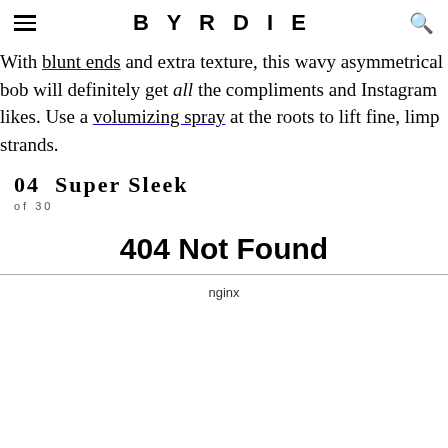BYRDIE
With blunt ends and extra texture, this wavy asymmetrical bob will definitely get all the compliments and Instagram likes. Use a volumizing spray at the roots to lift fine, limp strands.
04  Super Sleek
of 30
404 Not Found
nginx